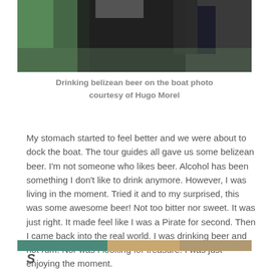[Figure (photo): Partial photo of people on a boat, showing dark and green tones, cropped at top of page]
Drinking belizean beer on the boat photo courtesy of Hugo Morel
My stomach started to feel better and we were about to dock the boat. The tour guides all gave us some belizean beer. I'm not someone who likes beer. Alcohol has been something I don't like to drink anymore. However, I was living in the moment. Tried it and to my surprised, this was some awesome beer! Not too bitter nor sweet. It was just right. It made feel like I was a Pirate for second. Then I came back into the real world. I was drinking beer and not rum. Nor was I looking for treasure. I was just enjoying the moment.
[Figure (photo): Partial photo visible at bottom of page, showing teal/warm tones, cropped]
S